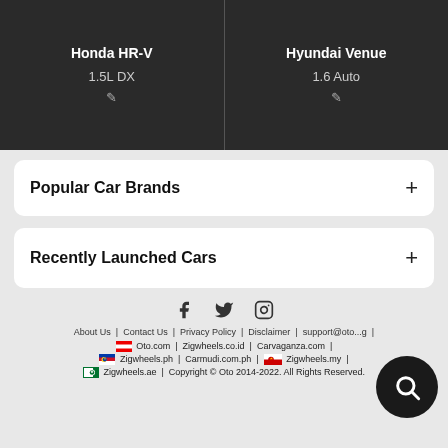Honda HR-V | Hyundai Venue — 1.5L DX | 1.6 Auto
Popular Car Brands
Recently Launched Cars
Cars By BodyType
Search By Interest
About Us | Contact Us | Privacy Policy | Disclaimer | support@oto...g | Oto.com | Zigwheels.co.id | Carvaganza.com | Zigwheels.ph | Carmudi.com.ph | Zigwheels.my | Zigwheels.ae | Copyright © Oto 2014-2022. All Rights Reserved.